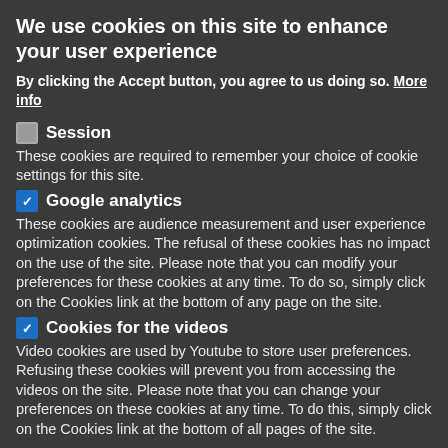We use cookies on this site to enhance your user experience
By clicking the Accept button, you agree to us doing so. More info
Session
These cookies are required to remember your choice of cookie settings for this site.
Google analytics
These cookies are audience measurement and user experience optimization cookies. The refusal of these cookies has no impact on the use of the site. Please note that you can modify your preferences for these cookies at any time. To do so, simply click on the Cookies link at the bottom of any page on the site.
Cookies for the videos
Video cookies are used by Youtube to store user preferences. Refusing these cookies will prevent you from accessing the videos on the site. Please note that you can change your preferences on these cookies at any time. To do this, simply click on the Cookies link at the bottom of all pages of the site.
Save preferences
Deny all